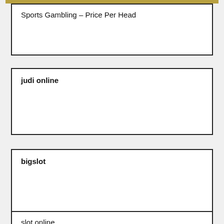Sports Gambling – Price Per Head
judi online
bigslot
slot online